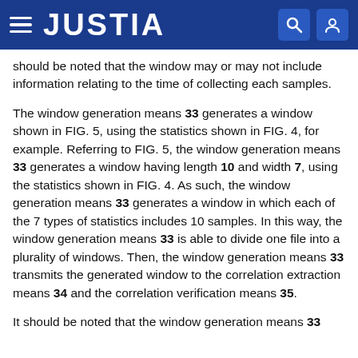JUSTIA
should be noted that the window may or may not include information relating to the time of collecting each samples.
The window generation means 33 generates a window shown in FIG. 5, using the statistics shown in FIG. 4, for example. Referring to FIG. 5, the window generation means 33 generates a window having length 10 and width 7, using the statistics shown in FIG. 4. As such, the window generation means 33 generates a window in which each of the 7 types of statistics includes 10 samples. In this way, the window generation means 33 is able to divide one file into a plurality of windows. Then, the window generation means 33 transmits the generated window to the correlation extraction means 34 and the correlation verification means 35.
It should be noted that the window generation means 33